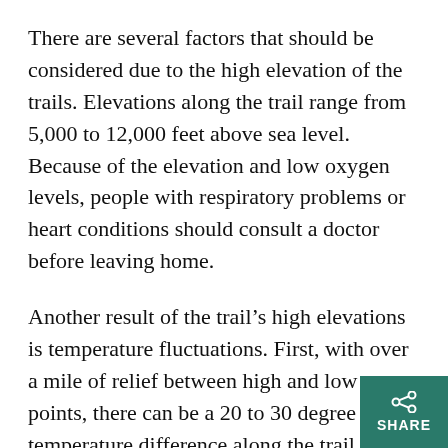There are several factors that should be considered due to the high elevation of the trails. Elevations along the trail range from 5,000 to 12,000 feet above sea level. Because of the elevation and low oxygen levels, people with respiratory problems or heart conditions should consult a doctor before leaving home.
Another result of the trail's high elevations is temperature fluctuations. First, with over a mile of relief between high and low points, there can be a 20 to 30 degree temperature difference along the trail. Second, it is common to have a 40 degree temperature change from morning to night. This fluctuation in temperature should be considered by those planning to camp along the trail. Along with these temperature fluctuations is the fact that it never really gets to